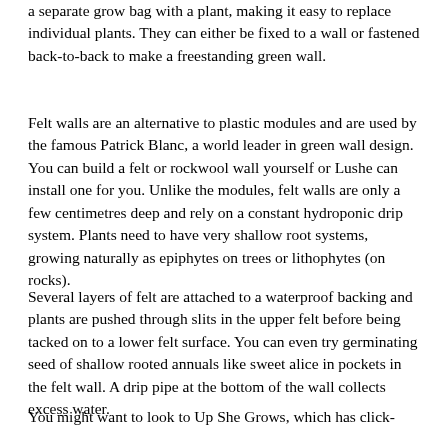a separate grow bag with a plant, making it easy to replace individual plants. They can either be fixed to a wall or fastened back-to-back to make a freestanding green wall.
Felt walls are an alternative to plastic modules and are used by the famous Patrick Blanc, a world leader in green wall design. You can build a felt or rockwool wall yourself or Lushe can install one for you. Unlike the modules, felt walls are only a few centimetres deep and rely on a constant hydroponic drip system. Plants need to have very shallow root systems, growing naturally as epiphytes on trees or lithophytes (on rocks).
Several layers of felt are attached to a waterproof backing and plants are pushed through slits in the upper felt before being tacked on to a lower felt surface. You can even try germinating seed of shallow rooted annuals like sweet alice in pockets in the felt wall. A drip pipe at the bottom of the wall collects excess water.
You might want to look to Up She Grows, which has click-